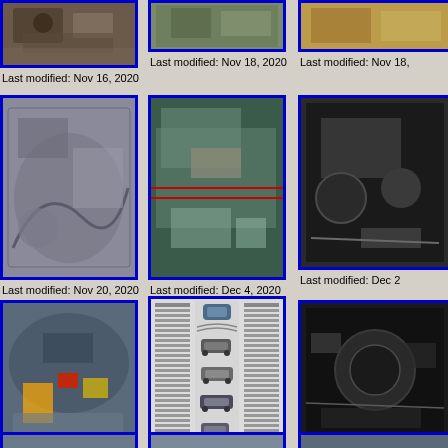[Figure (photo): Partial car part photo top left, cropped at top]
Last modified: Nov 16, 2020
[Figure (photo): Partial car interior/engine photo top center, cropped at top]
Last modified: Nov 18, 2020
[Figure (photo): Partial car part photo top right, cropped at top]
Last modified: Nov 18,
[Figure (photo): Car interior floor/fender well photo]
Last modified: Nov 20, 2020
[Figure (photo): Car interior with wiring and upholstery photo]
Last modified: Dec 4, 2020
[Figure (photo): Partial car engine/mechanical photo right side]
Last modified: Dec 2
[Figure (photo): Curved metal interior with wiring/components]
Last modified: Dec 21, 2020
[Figure (photo): Document/brochure showing car diagrams and text]
Last modified: Dec 25, 2020
[Figure (photo): Partial dark mechanical/engine photo right side]
Last modified: Dec 26
[Figure (photo): Partial photo bottom left]
[Figure (photo): Partial photo bottom center]
[Figure (photo): Partial photo bottom right]